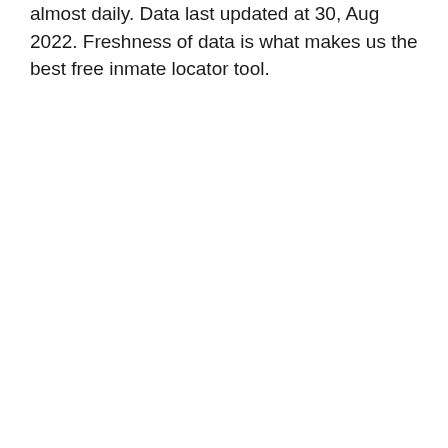almost daily. Data last updated at 30, Aug 2022. Freshness of data is what makes us the best free inmate locator tool.